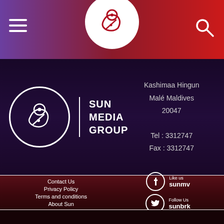[Figure (logo): Sun Media Group logo - white circle with Dhivehi script and decorative mark]
SUN MEDIA GROUP
Kashimaa Hingun
Malé Maldives
20047

Tel : 3312747
Fax : 3312747
Contact Us
Privacy Policy
Terms and conditions
About Sun
Like us
sunmv
Follow Us
sunbrk